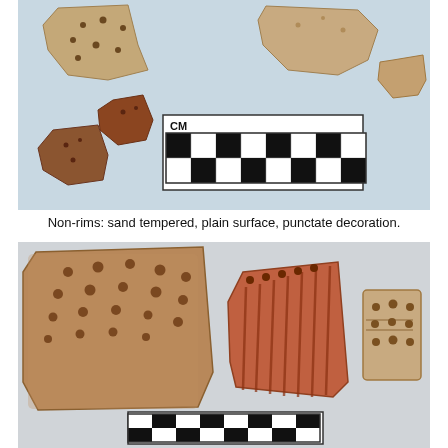[Figure (photo): Archaeological pottery sherds (non-rims) on a light blue surface: several sand-tempered, plain surface fragments with punctate decoration, along with a black-and-white checkerboard centimeter scale bar labeled CM.]
Non-rims: sand tempered, plain surface, punctate decoration.
[Figure (photo): Three pottery sherds displayed on a light surface: a large rough sand-tempered fragment with rows of punctate holes (left), a medium reddish fragment with vertical incised grooves and punctate row (center), and a small sandy fragment with punctate dots arranged in a pattern (right). A black-and-white checkerboard centimeter scale bar labeled CM is visible at the bottom.]